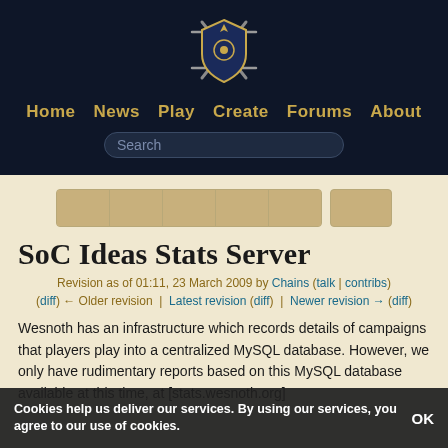Home | News | Play | Create | Forums | About
SoC Ideas Stats Server
Revision as of 01:11, 23 March 2009 by Chains (talk | contribs)
(diff) ← Older revision | Latest revision (diff) | Newer revision → (diff)
Wesnoth has an infrastructure which records details of campaigns that players play into a centralized MySQL database. However, we only have rudimentary reports based on this MySQL database available at this time, at [stats.wesnoth.org] This project would involve building a stats reporting web site which would take the data from the MySQL database and
Cookies help us deliver our services. By using our services, you agree to our use of cookies.